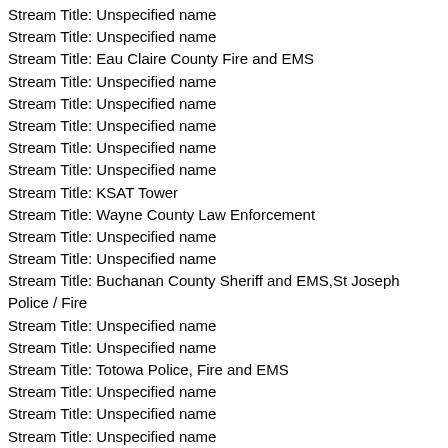Stream Title: Unspecified name
Stream Title: Unspecified name
Stream Title: Eau Claire County Fire and EMS
Stream Title: Unspecified name
Stream Title: Unspecified name
Stream Title: Unspecified name
Stream Title: Unspecified name
Stream Title: Unspecified name
Stream Title: KSAT Tower
Stream Title: Wayne County Law Enforcement
Stream Title: Unspecified name
Stream Title: Unspecified name
Stream Title: Buchanan County Sheriff and EMS,St Joseph Police / Fire
Stream Title: Unspecified name
Stream Title: Unspecified name
Stream Title: Totowa Police, Fire and EMS
Stream Title: Unspecified name
Stream Title: Unspecified name
Stream Title: Unspecified name
Stream Title: Unspecified name
Stream Title: Minden Fire and Rescue
Stream Title: Unspecified name
Stream Title: Stafford County and Fredericksburg Fire and EMS
Stream Title: Unspecified name
Stream Title: Hamblen County Sheriff and Fire Association